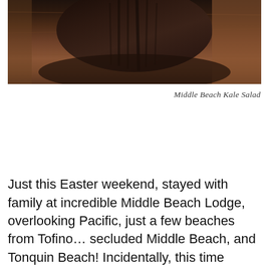[Figure (photo): Close-up photo of a dark wooden bowl containing kale salad, with warm brown wooden background tones visible behind it.]
Middle Beach Kale Salad
Just this Easter weekend, stayed with family at incredible Middle Beach Lodge, overlooking Pacific, just a few beaches from Tofino… secluded Middle Beach, and Tonquin Beach! Incidentally, this time